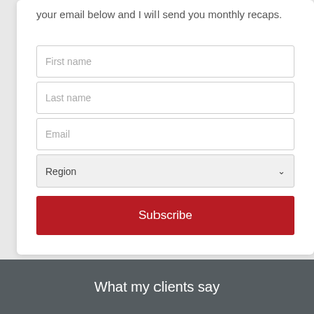your email below and I will send you monthly recaps.
First name
Last name
Email
Region
Subscribe
What my clients say